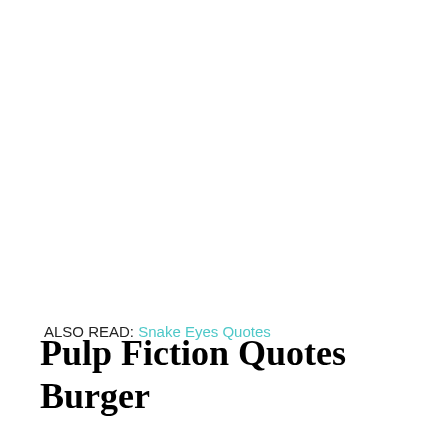ALSO READ: Snake Eyes Quotes
Pulp Fiction Quotes Burger